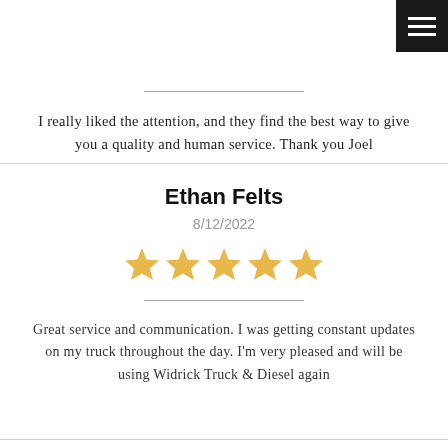I really liked the attention, and they find the best way to give you a quality and human service. Thank you Joel
Ethan Felts
8/12/2022
[Figure (other): 5 gold star rating icons]
Great service and communication. I was getting constant updates on my truck throughout the day. I'm very pleased and will be using Widrick Truck & Diesel again